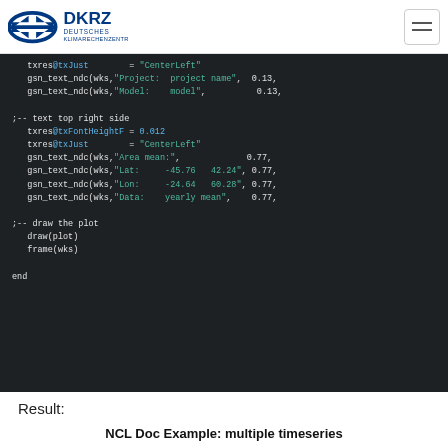DKRZ - Deutsches Klimarechenzentrum
[Figure (screenshot): Code editor screenshot showing NCL script for drawing plot with text annotations. Dark background with syntax-highlighted code. Shows txres@txJust, gsn_text_ndc calls with Project, Model, Area mean, Lat, Lon, Data parameters, and draw/frame commands.]
Result:
NCL Doc Example: multiple timeseries